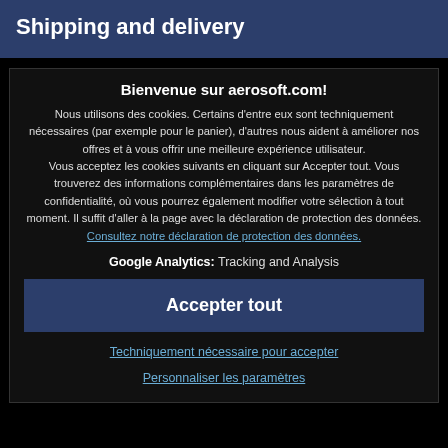Shipping and delivery
Bienvenue sur aerosoft.com!
Nous utilisons des cookies. Certains d'entre eux sont techniquement nécessaires (par exemple pour le panier), d'autres nous aident à améliorer nos offres et à vous offrir une meilleure expérience utilisateur. Vous acceptez les cookies suivants en cliquant sur Accepter tout. Vous trouverez des informations complémentaires dans les paramètres de confidentialité, où vous pourrez également modifier votre sélection à tout moment. Il suffit d'aller à la page avec la déclaration de protection des données. Consultez notre déclaration de protection des données.
Google Analytics: Tracking and Analysis
Accepter tout
Techniquement nécessaire pour accepter
Personnaliser les paramètres